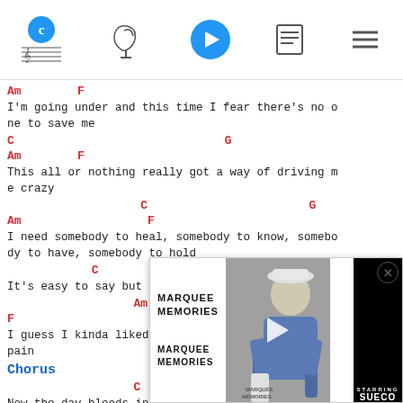Navigation bar with logo, capo tool, play button, chord sheet icon, menu icon
Am        F
I'm going under and this time I fear there's no one to save me
C                              G
Am        F
This all or nothing really got a way of driving me crazy
C                       G
Am                  F
I need somebody to heal, somebody to know, somebody to have, somebody to hold
C                       G
It's easy to say but it's never the same
Am
F
I guess I kinda liked the way you numbed all the pain
Chorus
C
Now the day bleeds into ni…